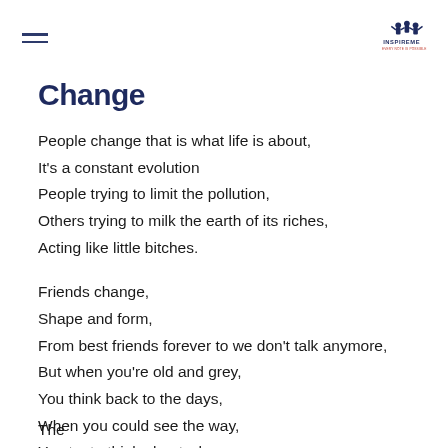≡  [Inspire logo]
Change
People change that is what life is about,
It's a constant evolution
People trying to limit the pollution,
Others trying to milk the earth of its riches,
Acting like little bitches.

Friends change,
Shape and form,
From best friends forever to we don't talk anymore,
But when you're old and grey,
You think back to the days,
When you could see the way,
You try to think about who you were

The...